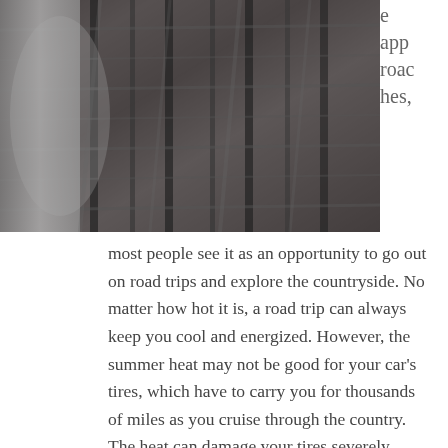[Figure (photo): Close-up photograph of a car tire tread/sidewall, showing detailed grooves and patterns, in dark grey tones.]
e approaches,
most people see it as an opportunity to go out on road trips and explore the countryside. No matter how hot it is, a road trip can always keep you cool and energized. However, the summer heat may not be good for your car’s tires, which have to carry you for thousands of miles as you cruise through the country. The heat can damage your tires severely, causing you to change them.

If you are looking for a suitable set of tires for the summers, there is no better option than summer tires, which have been specially designed to withstand the extreme heat. Let’s dive in and learn all there is to know about summer tires.
What are Summer Tires?